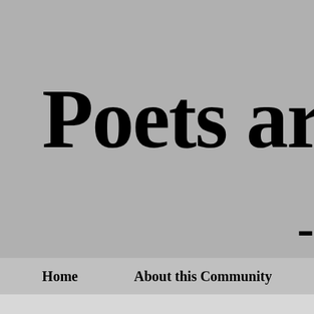Poets ar
-
Home   About this Community
S...l This Bl...
Sunday, June 27, 20...